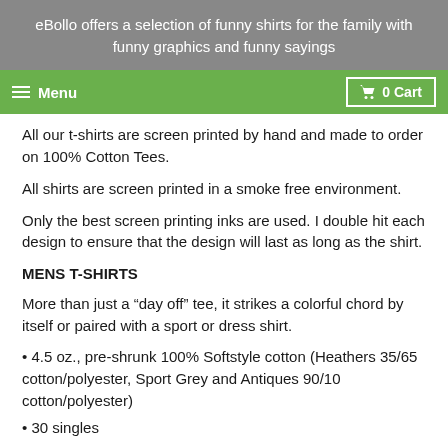eBollo offers a selection of funny shirts for the family with funny graphics and funny sayings
Menu   0 Cart
All our t-shirts are screen printed by hand and made to order on 100% Cotton Tees.
All shirts are screen printed in a smoke free environment.
Only the best screen printing inks are used. I double hit each design to ensure that the design will last as long as the shirt.
MENS T-SHIRTS
More than just a “day off” tee, it strikes a colorful chord by itself or paired with a sport or dress shirt.
• 4.5 oz., pre-shrunk 100% Softstyle cotton (Heathers 35/65 cotton/polyester, Sport Grey and Antiques 90/10 cotton/polyester)
• 30 singles
• Double-needle stitched neckline and sleeves